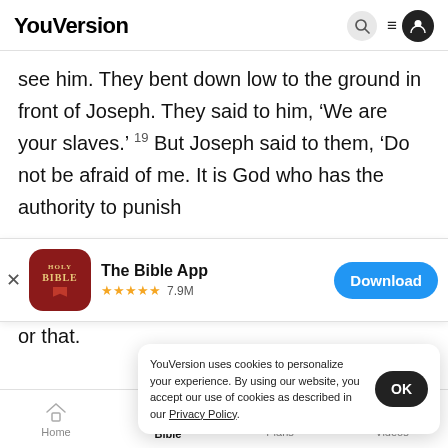YouVersion
see him. They bent down low to the ground in front of Joseph. They said to him, ‘We are your slaves.’ 19 But Joseph said to them, ‘Do not be afraid of me. It is God who has the authority to punish
[Figure (screenshot): App download banner for The Bible App with Holy Bible icon, 5 stars, 7.9M ratings, and a Download button]
or that.
many p
happened! 21 So do not be afraid. I will continue to
YouVersion uses cookies to personalize your experience. By using our website, you accept our use of cookies as described in our Privacy Policy.
Home   Bible   Plans   Videos